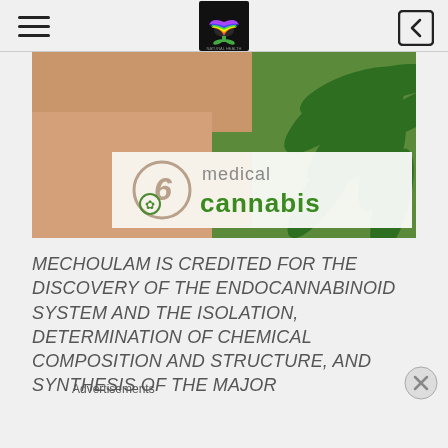[Figure (photo): Medical cannabis banner image with a person's face, cannabis leaves, and '66 medical cannabis' logo with green cannabis leaf icon on white/tan background]
MECHOULAM IS CREDITED FOR THE DISCOVERY OF THE ENDOCANNABINOID SYSTEM AND THE ISOLATION, DETERMINATION OF CHEMICAL COMPOSITION AND STRUCTURE, AND SYNTHESIS OF THE MAJOR
Advertisements